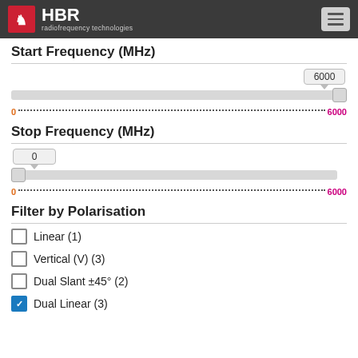HBR radiofrequency technologies
Start Frequency (MHz)
[Figure (other): Slider control for Start Frequency (MHz) with current value tooltip showing 6000, range 0 to 6000, thumb positioned at far right]
Stop Frequency (MHz)
[Figure (other): Slider control for Stop Frequency (MHz) with current value tooltip showing 0, range 0 to 6000, thumb positioned at far left]
Filter by Polarisation
Linear (1)
Vertical (V) (3)
Dual Slant ±45° (2)
Dual Linear (3)